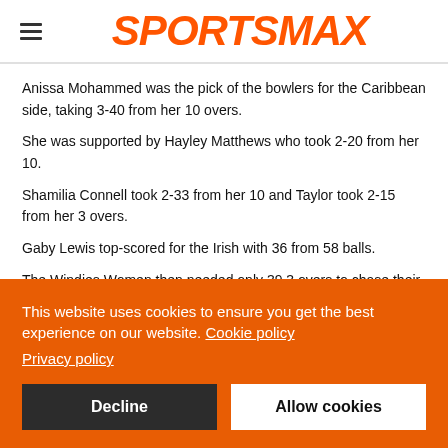SPORTSMAX
Anissa Mohammed was the pick of the bowlers for the Caribbean side, taking 3-40 from her 10 overs.
She was supported by Hayley Matthews who took 2-20 from her 10.
Shamilia Connell took 2-33 from her 10 and Taylor took 2-15 from her 3 overs.
Gaby Lewis top-scored for the Irish with 36 from 58 balls.
The Windies Women then needed only 39.3 overs to chase their target with Dottin getting 73 and Taylor finishing not out on 41.
This website uses cookies to ensure you get the best experience on our website. Cookie policy Privacy policy